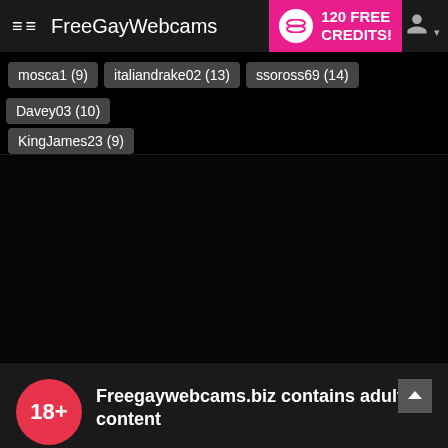≡≡ FreeGayWebcams | 120 FREE CREDITS!
mosca1 (9)
italiandrake02 (13)
ssoross69 (14)
Davey03 (10)
KingJames23 (9)
Freegaywebcams.biz contains adult content
By using the site, you acknowledge you have read our Privacy Policy, and agree to our Terms and Conditions.
We use cookies to optimize your experience, analyze traffic, and deliver more personalized service. To learn more, please see our Privacy Policy.
I AGREE